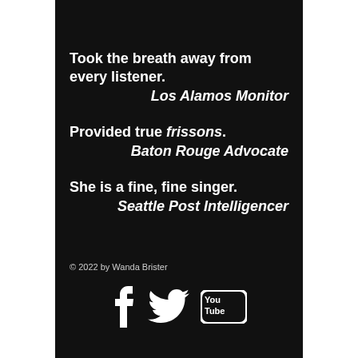Took the breath away from every listener.
— Los Alamos Monitor
Provided true frissons.
— Baton Rouge Advocate
She is a fine, fine singer.
— Seattle Post Intelligencer
© 2022 by Wanda Brister
[Figure (illustration): Social media icons: Facebook, Twitter, YouTube]